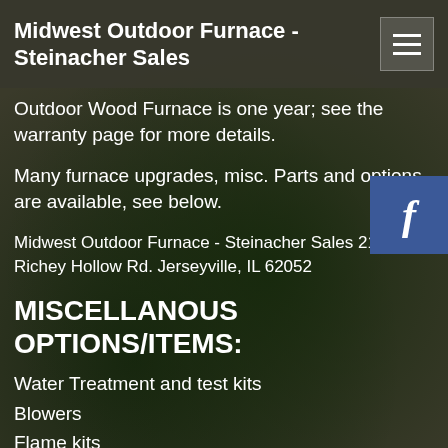Midwest Outdoor Furnace - Steinacher Sales
Outdoor Wood Furnace is one year; see the warranty page for more details.
Many furnace upgrades, misc. Parts and options are available, see below.
Midwest Outdoor Furnace - Steinacher Sales 21690 Richey Hollow Rd. Jerseyville, IL 62052
MISCELLANOUS OPTIONS/ITEMS:
Water Treatment and test kits
Blowers
Flame kits